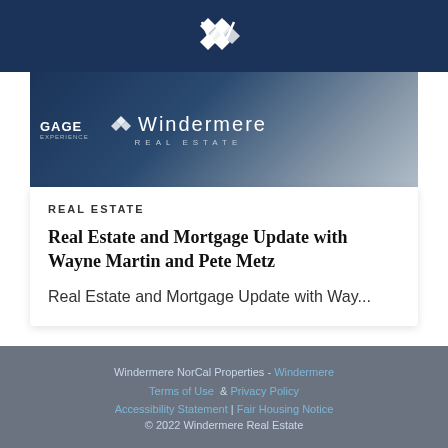Windermere logo header
[Figure (screenshot): Windermere Real Estate brand header image with a man in a suit in the background, showing the Windermere Real Estate logo and GAGE text on dark blue background]
REAL ESTATE
Real Estate and Mortgage Update with Wayne Martin and Pete Metz
Real Estate and Mortgage Update with Way...
[Figure (other): Share button with honeycomb pattern background, black square with share icon and SHARE text]
Windermere NorCal Properties - Windermere Terms of Use & Privacy Policy Accessibility Statement | Fair Housing Notice © 2022 Windermere Real Estate